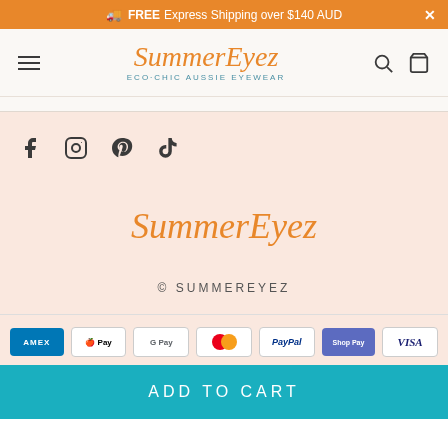🚚 FREE Express Shipping over $140 AUD ×
[Figure (logo): SummerEyez logo with ECO-CHIC AUSSIE EYEWEAR tagline, hamburger menu, search and bag icons]
[Figure (infographic): Social media icons: Facebook, Instagram, Pinterest, TikTok]
[Figure (logo): SummerEyez script logo in orange]
© SUMMEREYEZ
[Figure (infographic): Payment method badges: American Express, Apple Pay, Google Pay, Mastercard, PayPal, Shop Pay, Visa]
ADD TO CART